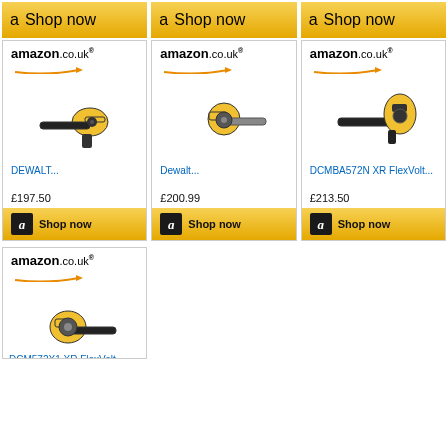[Figure (screenshot): Amazon.co.uk product listing page showing DeWalt leaf blowers with prices and Shop now buttons. Three product cards in middle row: DEWALT... £197.50, Dewalt... £200.99, DCMBA572N XR FlexVolt... £213.50. One partial card at bottom: DCM572X1 XR FlexVolt...]
Shop now
Shop now
Shop now
DEWALT...
£197.50
Dewalt...
£200.99
DCMBA572N XR FlexVolt...
£213.50
Shop now
Shop now
Shop now
DCM572X1 XR FlexVolt...